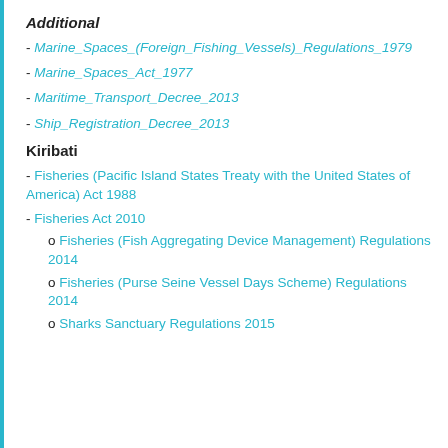Additional
- Marine_Spaces_(Foreign_Fishing_Vessels)_Regulations_1979
- Marine_Spaces_Act_1977
- Maritime_Transport_Decree_2013
- Ship_Registration_Decree_2013
Kiribati
- Fisheries (Pacific Island States Treaty with the United States of America) Act 1988
- Fisheries Act 2010
o Fisheries (Fish Aggregating Device Management) Regulations 2014
o Fisheries (Purse Seine Vessel Days Scheme) Regulations 2014
o Sharks Sanctuary Regulations 2015